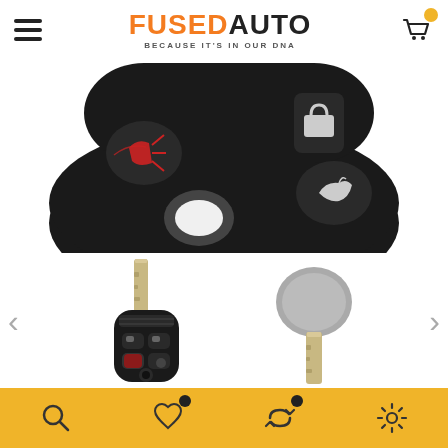[Figure (logo): FusedAuto logo with hamburger menu and cart icon in header]
[Figure (photo): Close-up zoomed view of a black car key fob remote showing alarm and lock buttons]
[Figure (photo): Gallery thumbnail: Ford key fob with blade key and 4 buttons]
[Figure (photo): Gallery thumbnail: Gray transponder key blade]